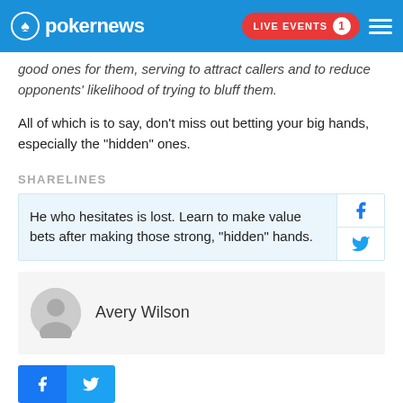pokernews | LIVE EVENTS 1
good ones for them, serving to attract callers and to reduce opponents' likelihood of trying to bluff them.
All of which is to say, don't miss out betting your big hands, especially the "hidden" ones.
SHARELINES
He who hesitates is lost. Learn to make value bets after making those strong, "hidden" hands.
Avery Wilson